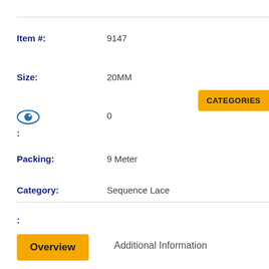Item #: 9147
Size: 20MM
👁 0 :
Packing: 9 Meter
Category: Sequence Lace
CATEGORIES
:
Overview
Additional Information